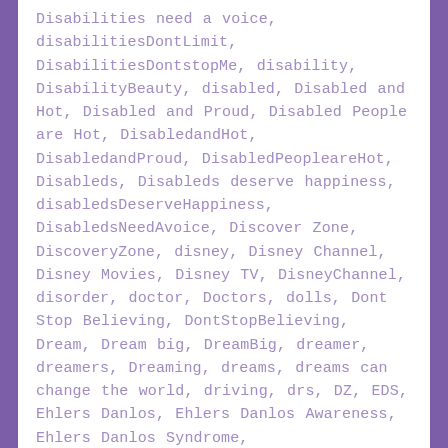Disabilities need a voice, disabilitiesDontLimit, DisabilitiesDontstopMe, disability, DisabilityBeauty, disabled, Disabled and Hot, Disabled and Proud, Disabled People are Hot, DisabledandHot, DisabledandProud, DisabledPeopleareHot, Disableds, Disableds deserve happiness, disabledsDeserveHappiness, DisabledsNeedAvoice, Discover Zone, DiscoveryZone, disney, Disney Channel, Disney Movies, Disney TV, DisneyChannel, disorder, doctor, Doctors, dolls, Dont Stop Believing, DontStopBelieving, Dream, Dream big, DreamBig, dreamer, dreamers, Dreaming, dreams, dreams can change the world, driving, drs, DZ, EDS, Ehlers Danlos, Ehlers Danlos Awareness, Ehlers Danlos Syndrome,